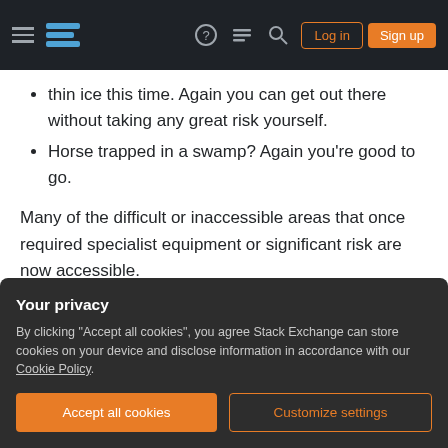Stack Exchange navigation bar with Log in and Sign up buttons
thin ice this time. Again you can get out there without taking any great risk yourself.
Horse trapped in a swamp? Again you're good to go.
Many of the difficult or inaccessible areas that once required specialist equipment or significant risk are now accessible.
We're not reinventing the wheel in the short term, as you've said it's exhausting in a way that riding a
Your privacy
By clicking "Accept all cookies", you agree Stack Exchange can store cookies on your device and disclose information in accordance with our Cookie Policy.
Accept all cookies | Customize settings